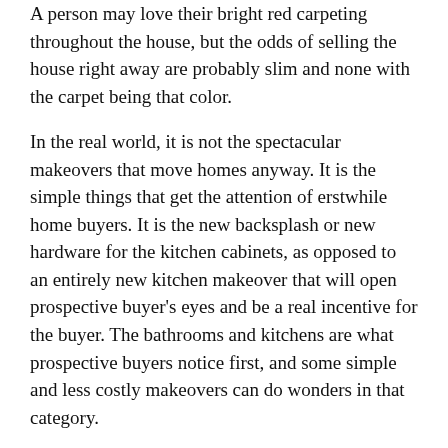A person may love their bright red carpeting throughout the house, but the odds of selling the house right away are probably slim and none with the carpet being that color.
In the real world, it is not the spectacular makeovers that move homes anyway. It is the simple things that get the attention of erstwhile home buyers. It is the new backsplash or new hardware for the kitchen cabinets, as opposed to an entirely new kitchen makeover that will open prospective buyer's eyes and be a real incentive for the buyer. The bathrooms and kitchens are what prospective buyers notice first, and some simple and less costly makeovers can do wonders in that category.
Having kitchen carpeting has become less and less popular simply because of the upkeep. It is a fact that food gets spilled in kitchen areas, and it is also a fact that